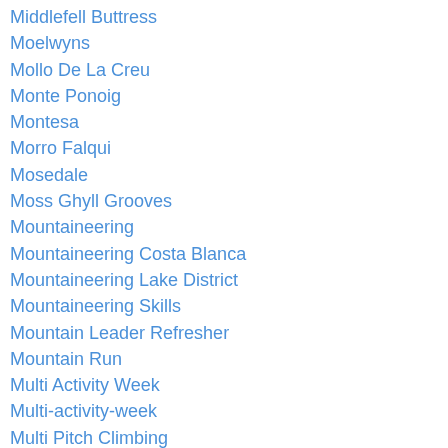Middlefell Buttress
Moelwyns
Mollo De La Creu
Monte Ponoig
Montesa
Morro Falqui
Mosedale
Moss Ghyll Grooves
Mountaineering
Mountaineering Costa Blanca
Mountaineering Lake District
Mountaineering Skills
Mountain Leader Refresher
Mountain Run
Multi Activity Week
Multi-activity-week
Multi Pitch Climbing
Multi-pitch Climbing
Multi Pitch Sport Climbing
Murcia Climbing